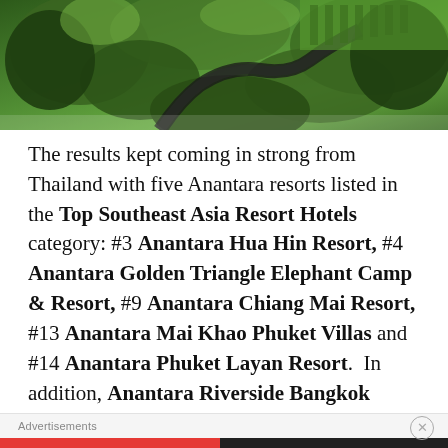[Figure (photo): Aerial view of lush green tropical landscape with winding road or river, viewed from above]
The results kept coming in strong from Thailand with five Anantara resorts listed in the Top Southeast Asia Resort Hotels category: #3 Anantara Hua Hin Resort, #4 Anantara Golden Triangle Elephant Camp & Resort, #9 Anantara Chiang Mai Resort, #13 Anantara Mai Khao Phuket Villas and #14 Anantara Phuket Layan Resort.  In addition, Anantara Riverside Bangkok Resort was placed #5 in The Top 5 Hotels in Bangkok.
Advertisements